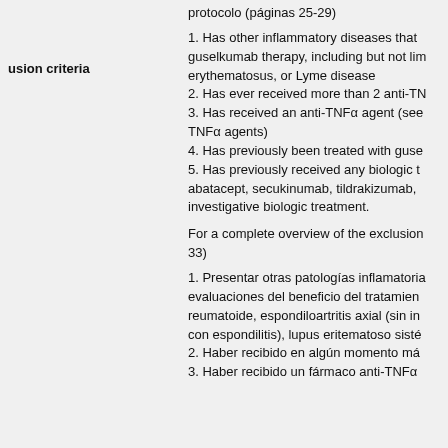protocolo (páginas 25-29)
usion criteria
1. Has other inflammatory diseases that guselkumab therapy, including but not limited to erythematosus, or Lyme disease
2. Has ever received more than 2 anti-TNF...
3. Has received an anti-TNFα agent (see... TNFα agents)
4. Has previously been treated with guse...
5. Has previously received any biologic t... abatacept, secukinumab, tildrakizumab, investigative biologic treatment.
For a complete overview of the exclusion... 33)
1. Presentar otras patologías inflamatorias evaluaciones del beneficio del tratamien... reumatoide, espondiloartritis axial (sin in... con espondilitis), lupus eritematoso sisté...
2. Haber recibido en algún momento má...
3. Haber recibido un fármaco anti-TNFα...